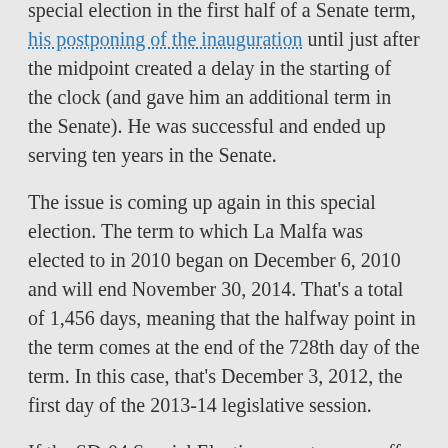special election in the first half of a Senate term, his postponing of the inauguration until just after the midpoint created a delay in the starting of the clock (and gave him an additional term in the Senate). He was successful and ended up serving ten years in the Senate.
The issue is coming up again in this special election. The term to which La Malfa was elected to in 2010 began on December 6, 2010 and will end November 30, 2014. That's a total of 1,456 days, meaning that the halfway point in the term comes at the end of the 728th day of the term. In this case, that's December 3, 2012, the first day of the 2013-14 legislative session.
If the SD-04 Special Election goes to a run-off, this isn't an issue; the second election would fall in early January (after the midpoint of the term). But if